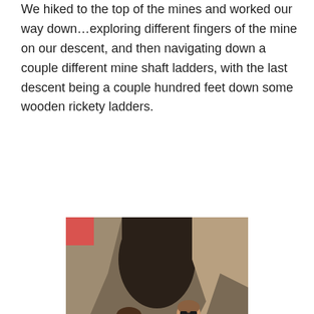We hiked to the top of the mines and worked our way down…exploring different fingers of the mine on our descent, and then navigating down a couple different mine shaft ladders, with the last descent being a couple hundred feet down some wooden rickety ladders.
[Figure (photo): Two people standing inside a rocky mine entrance. A woman in a pink top and dark jeans stands on the left, and a man in a white t-shirt and khaki pants stands on the right holding a water bottle. Wooden planks are visible on the ground.]